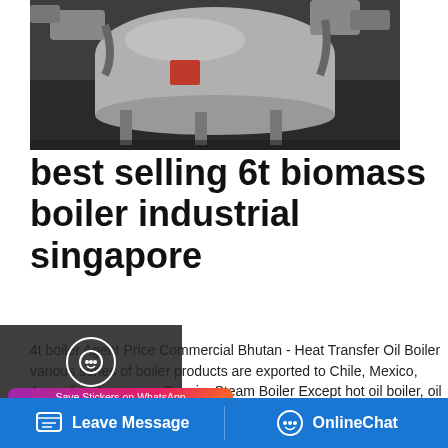[Figure (photo): Industrial biomass boiler equipment photo, showing metal machinery with ducts in a workshop/factory setting]
best selling 6t biomass boiler industrial singapore
4t boiler Agent Price Commercial Bhutan - Heat Transfer Oil Boiler various series of boiler products are exported to Chile, Mexico, Australia, Singapore, Russia, Steam Boiler Except hot oil boiler, oil gas fired steam boiler and biomass water tube 4t gas fired boiler Manufacturing companies Industrial Azerbaijan; Price 4t Natural 6t oil